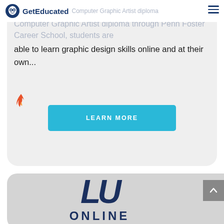GetEducated — Computer Graphic Artist diploma through Penn Foster Career School, students are able to learn graphic design skills online and at their own...
able to learn graphic design skills online and at their own...
[Figure (logo): GetEducated owl logo with text 'GetEducated']
[Figure (other): Fire/hot icon in orange-red color]
LEARN MORE
[Figure (logo): LU Online logo - Liberty University Online with large italic LU monogram in dark navy blue and ONLINE text below]